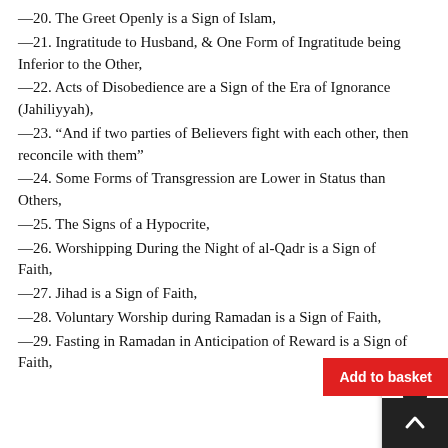—20. The Greet Openly is a Sign of Islam,
—21. Ingratitude to Husband, & One Form of Ingratitude being Inferior to the Other,
—22. Acts of Disobedience are a Sign of the Era of Ignorance (Jahiliyyah),
—23. “And if two parties of Believers fight with each other, then reconcile with them”
—24. Some Forms of Transgression are Lower in Status than Others,
—25. The Signs of a Hypocrite,
—26. Worshipping During the Night of al-Qadr is a Sign of Faith,
—27. Jihad is a Sign of Faith,
—28. Voluntary Worship during Ramadan is a Sign of Faith,
—29. Fasting in Ramadan in Anticipation of Reward is a Sign of Faith,